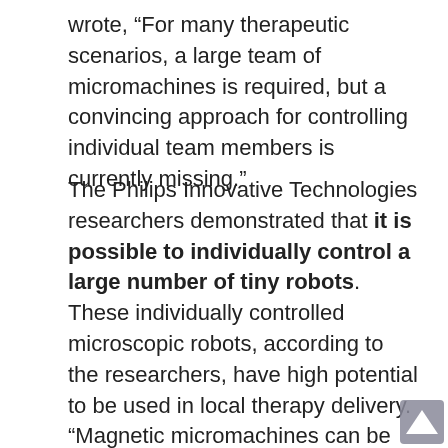wrote, “For many therapeutic scenarios, a large team of micromachines is required, but a convincing approach for controlling individual team members is currently missing.”
The Philips Innovative Technologies researchers demonstrated that it is possible to individually control a large number of tiny robots. These individually controlled microscopic robots, according to the researchers, have high potential to be used in local therapy delivery. “Magnetic micromachines can be controlled remotely inside the human body by application of external magnetic fields, making them promising candidates for minimally invasive local therapy delivery,” the researchers added.
These microscopic robots can be specifically be used for radiation treatment in cancer therapy based on selective switching of radioactive sources distributed inside a